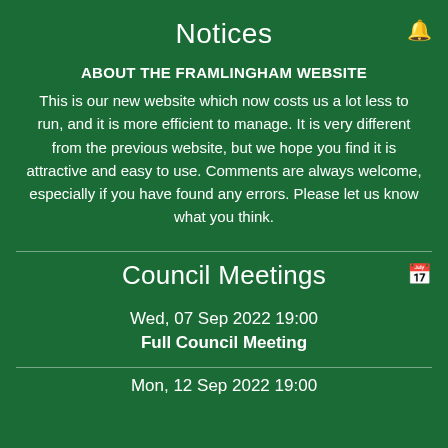Notices
ABOUT THE FRAMLINGHAM WEBSITE
This is our new website which now costs us a lot less to run, and it is more efficient to manage. It is very different from the previous website, but we hope you find it is attractive and easy to use. Comments are always welcome, especially if you have found any errors. Please let us know what you think.
Council Meetings
Wed, 07 Sep 2022 19:00
Full Council Meeting